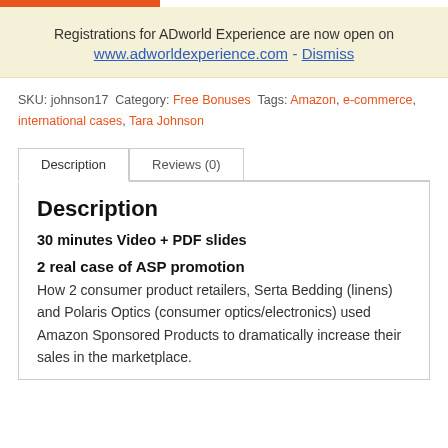Registrations for ADworld Experience are now open on www.adworldexperience.com - Dismiss
SKU: johnson17 Category: Free Bonuses Tags: Amazon, e-commerce, international cases, Tara Johnson
Description
30 minutes Video + PDF slides
2 real case of ASP promotion
How 2 consumer product retailers, Serta Bedding (linens) and Polaris Optics (consumer optics/electronics) used Amazon Sponsored Products to dramatically increase their sales in the marketplace.